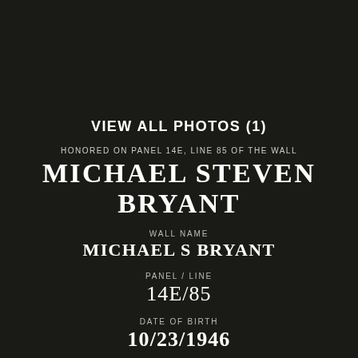VIEW ALL PHOTOS (1)
HONORED ON PANEL 14E, LINE 85 OF THE WALL
MICHAEL STEVEN BRYANT
WALL NAME
MICHAEL S BRYANT
PANEL / LINE
14E/85
DATE OF BIRTH
10/23/1946